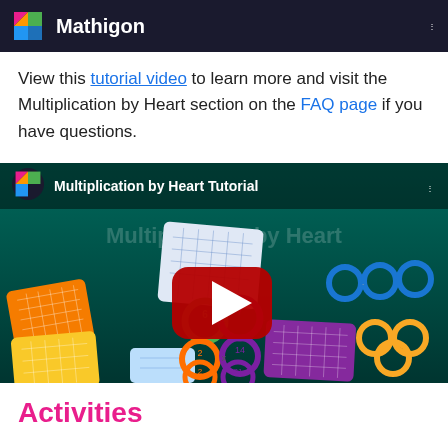Mathigon
View this tutorial video to learn more and visit the Multiplication by Heart section on the FAQ page if you have questions.
[Figure (screenshot): YouTube video thumbnail for 'Multiplication by Heart Tutorial' showing math cards with colorful multiplication visual aids and a YouTube play button overlay. The Mathigon logo appears in the upper left of the video.]
Activities